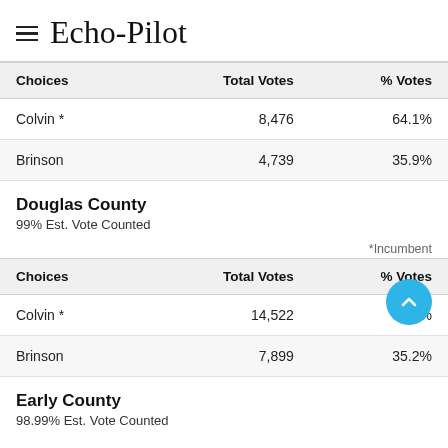Echo-Pilot
| Choices | Total Votes | % Votes |
| --- | --- | --- |
| Colvin * | 8,476 | 64.1% |
| Brinson | 4,739 | 35.9% |
Douglas County
99% Est. Vote Counted
*Incumbent
| Choices | Total Votes | % Votes |
| --- | --- | --- |
| Colvin * | 14,522 | 64.8% |
| Brinson | 7,899 | 35.2% |
Early County
98.99% Est. Vote Counted